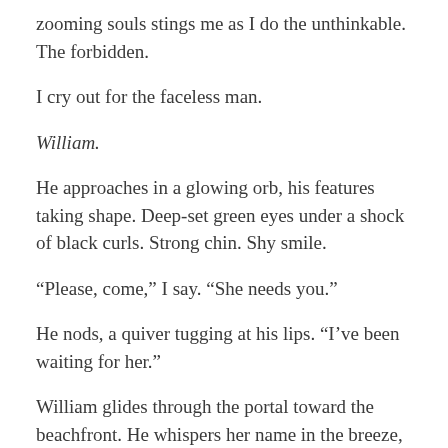zooming souls stings me as I do the unthinkable. The forbidden.
I cry out for the faceless man.
William.
He approaches in a glowing orb, his features taking shape. Deep-set green eyes under a shock of black curls. Strong chin. Shy smile.
“Please, come,” I say. “She needs you.”
He nods, a quiver tugging at his lips. “I’ve been waiting for her.”
William glides through the portal toward the beachfront. He whispers her name in the breeze, and Anna’s storm clouds retreat.